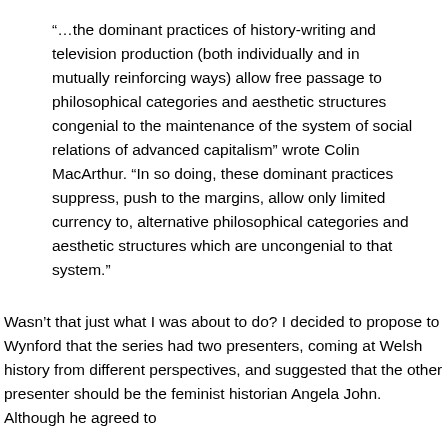“…the dominant practices of history-writing and television production (both individually and in mutually reinforcing ways) allow free passage to philosophical categories and aesthetic structures congenial to the maintenance of the system of social relations of advanced capitalism” wrote Colin MacArthur. “In so doing, these dominant practices suppress, push to the margins, allow only limited currency to, alternative philosophical categories and aesthetic structures which are uncongenial to that system.”
Wasn’t that just what I was about to do? I decided to propose to Wynford that the series had two presenters, coming at Welsh history from different perspectives, and suggested that the other presenter should be the feminist historian Angela John. Although he agreed to